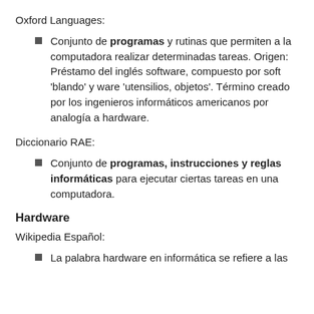Oxford Languages:
Conjunto de programas y rutinas que permiten a la computadora realizar determinadas tareas. Origen: Préstamo del inglés software, compuesto por soft 'blando' y ware 'utensilios, objetos'. Término creado por los ingenieros informáticos americanos por analogía a hardware.
Diccionario RAE:
Conjunto de programas, instrucciones y reglas informáticas para ejecutar ciertas tareas en una computadora.
Hardware
Wikipedia Español:
La palabra hardware en informática se refiere a las